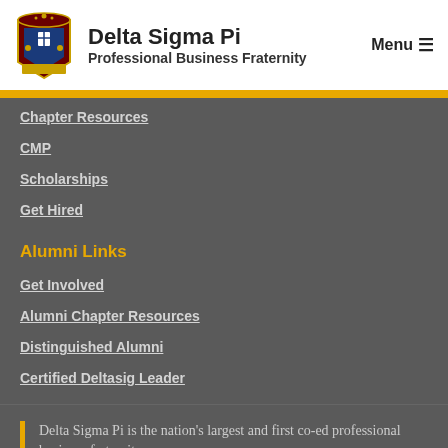Delta Sigma Pi — Professional Business Fraternity
Chapter Resources
CMP
Scholarships
Get Hired
Alumni Links
Get Involved
Alumni Chapter Resources
Distinguished Alumni
Certified Deltasig Leader
Delta Sigma Pi is the nation's largest and first co-ed professional business fraternity